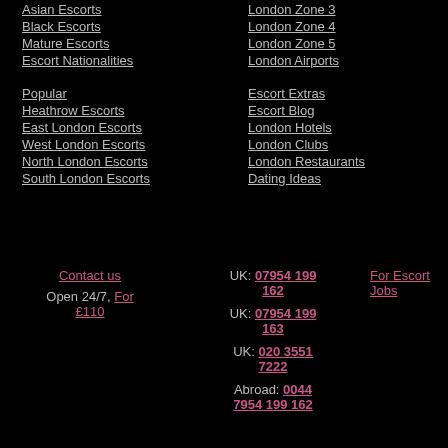Asian Escorts
Black Escorts
Mature Escorts
Escort Nationalities
London Zone 3
London Zone 4
London Zone 5
London Airports
Popular
Heathrow Escorts
East London Escorts
West London Escorts
North London Escorts
South London Escorts
Escort Extras
Escort Blog
London Hotels
London Clubs
London Restaurants
Dating Ideas
Contact us | Open 24/7, For £110 | UK: 07954 199 162 | UK: 07954 199 163 | UK: 020 3551 7222 | Abroad: 0044 7954 199 162 | For Escort Jobs